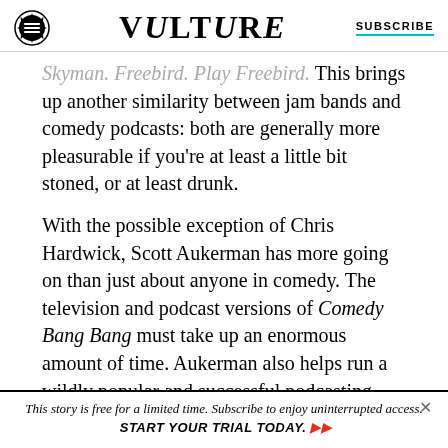VULTURE | SUBSCRIBE
Skyman. Freebird. Play Freebird. This brings up another similarity between jam bands and comedy podcasts: both are generally more pleasurable if you're at least a little bit stoned, or at least drunk.
With the possible exception of Chris Hardwick, Scott Aukerman has more going on than just about anyone in comedy. The television and podcast versions of Comedy Bang Bang must take up an enormous amount of time. Aukerman also helps run a wildly popular and successful podcasting network and tapes another hit podcast in U Talkin'
This story is free for a limited time. Subscribe to enjoy uninterrupted access. START YOUR TRIAL TODAY.